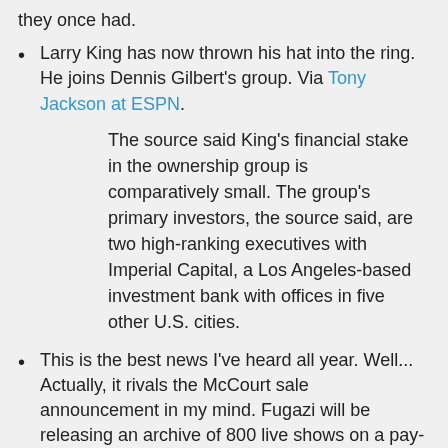they once had.
Larry King has now thrown his hat into the ring. He joins Dennis Gilbert's group. Via Tony Jackson at ESPN.
The source said King's financial stake in the ownership group is comparatively small. The group's primary investors, the source said, are two high-ranking executives with Imperial Capital, a Los Angeles-based investment bank with offices in five other U.S. cities.
This is the best news I've heard all year. Well... Actually, it rivals the McCourt sale announcement in my mind. Fugazi will be releasing an archive of 800 live shows on a pay-what-you-want basis. Check it out here.
The punk band's loyal following will be